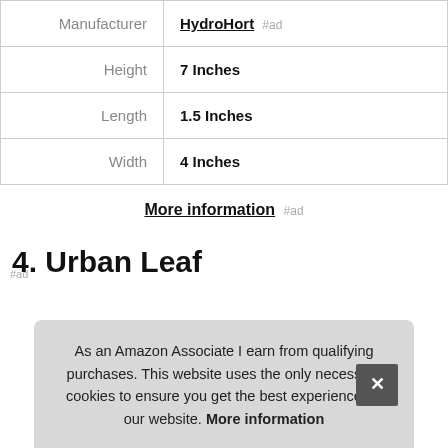|  |  |
| --- | --- |
| Manufacturer | HydroHort #ad |
| Height | 7 Inches |
| Length | 1.5 Inches |
| Width | 4 Inches |
More information #ad
4. Urban Leaf
As an Amazon Associate I earn from qualifying purchases. This website uses the only necessary cookies to ensure you get the best experience on our website. More information